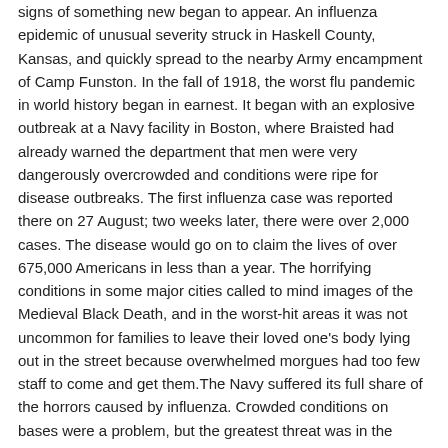signs of something new began to appear. An influenza epidemic of unusual severity struck in Haskell County, Kansas, and quickly spread to the nearby Army encampment of Camp Funston. In the fall of 1918, the worst flu pandemic in world history began in earnest. It began with an explosive outbreak at a Navy facility in Boston, where Braisted had already warned the department that men were very dangerously overcrowded and conditions were ripe for disease outbreaks. The first influenza case was reported there on 27 August; two weeks later, there were over 2,000 cases. The disease would go on to claim the lives of over 675,000 Americans in less than a year. The horrifying conditions in some major cities called to mind images of the Medieval Black Death, and in the worst-hit areas it was not uncommon for families to leave their loved one's body lying out in the street because overwhelmed morgues had too few staff to come and get them.The Navy suffered its full share of the horrors caused by influenza. Crowded conditions on bases were a problem, but the greatest threat was in the troop transports. In the fall of 1918, the Navy was tasked with carrying a quarter of a million men to Europe every month. The battle on the Western Front was reaching its climax, and while the Navy did reduce the number of men on ships, the war refused to wait for the pandemic to pass. Still, Braisted and the rest of the Navy's leadership did impose strict regulations to contain the spread